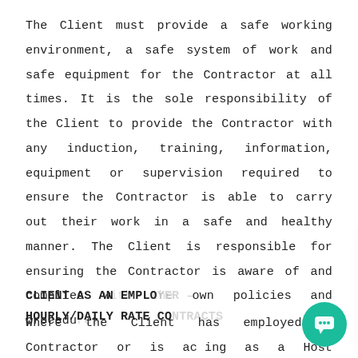The Client must provide a safe working environment, a safe system of work and safe equipment for the Contractor at all times. It is the sole responsibility of the Client to provide the Contractor with any induction, training, information, equipment or supervision required to ensure the Contractor is able to carry out their work in a safe and healthy manner. The Client is responsible for ensuring the Contractor is aware of and complies w[ith the Client's] own policies and procedu[res.]
CLIENT AS AN EMPLO[YER –]
HOURLY/DAILY RATE CO[NTRACTS]
Where the Client has employed a Contractor or is acting as a Host Employer by engaging a Contractor throug[h an agency,] the Client must:
[Figure (other): Chat popup overlay with avatar icon, close button (×), and message: 'Hi! Got any questions? Want to get in contact? Please leave your email and we come back ASAP!']
[Figure (other): Teal circular chat button in bottom-right corner with speech bubble icon]